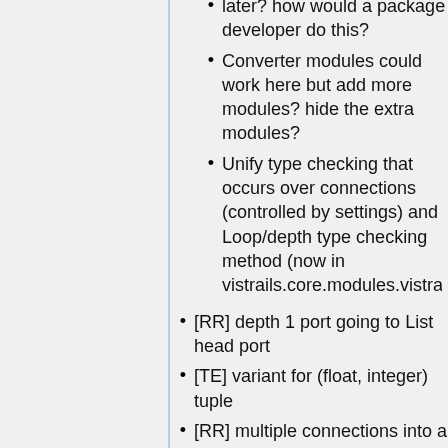later? how would a package developer do this?
Converter modules could work here but add more modules? hide the extra modules?
Unify type checking that occurs over connections (controlled by settings) and Loop/depth type checking method (now in vistrails.core.modules.vistrails_modu…
[RR] depth 1 port going to List head port
[TE] variant for (float, integer) tuple
[RR] multiple connections into a depth-1 port only use one of the values
should we have a self.get_input_list(flatten=True) option?
[DK] output-modules: should work on